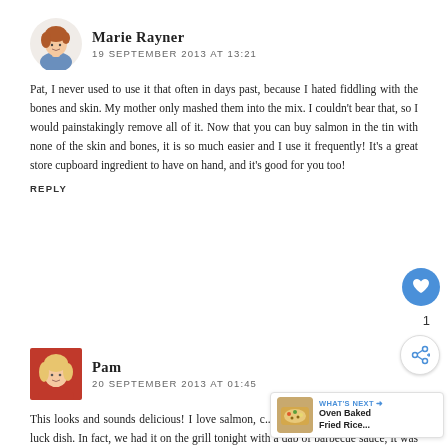Marie Rayner
19 SEPTEMBER 2013 AT 13:21
Pat, I never used to use it that often in days past, because I hated fiddling with the bones and skin. My mother only mashed them into the mix. I couldn't bear that, so I would painstakingly remove all of it. Now that you can buy salmon in the tin with none of the skin and bones, it is so much easier and I use it frequently! It's a great store cupboard ingredient to have on hand, and it's good for you too!
REPLY
Pam
20 SEPTEMBER 2013 AT 01:45
This looks and sounds delicious! I love salmon, c... but have never had it in a pot luck dish. In fact, we had it on the grill tonight with a dab of barbecue sauce, it was great. Can't wait to try
[Figure (infographic): What's Next overlay with Oven Baked Fried Rice thumbnail]